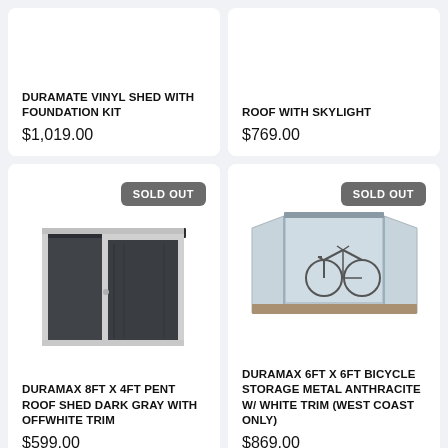DURAMATE VINYL SHED WITH FOUNDATION KIT
$1,019.00
ROOF WITH SKYLIGHT
$769.00
[Figure (photo): Dark gray metal shed with white trim, pent roof style, front-facing view with door visible]
SOLD OUT
DURAMAX 8FT X 4FT PENT ROOF SHED DARK GRAY WITH OFFWHITE TRIM
$599.00
[Figure (photo): Bicycle storage metal shed in anthracite color with white trim, open doors revealing bicycle inside]
SOLD OUT
DURAMAX 6FT X 6FT BICYCLE STORAGE METAL ANTHRACITE W/ WHITE TRIM (WEST COAST ONLY)
$869.00